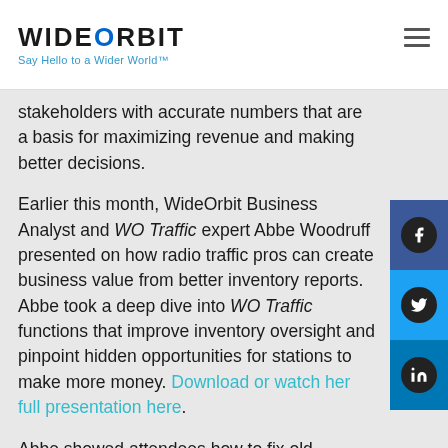WIDEORBIT — Say Hello to a Wider World™
stakeholders with accurate numbers that are a basis for maximizing revenue and making better decisions.
Earlier this month, WideOrbit Business Analyst and WO Traffic expert Abbe Woodruff presented on how radio traffic pros can create business value from better inventory reports. Abbe took a deep dive into WO Traffic functions that improve inventory oversight and pinpoint hidden opportunities for stations to make more money. Download or watch her full presentation here.
Abbe showed attendees how to fix old formats, purge out of date reports, and get